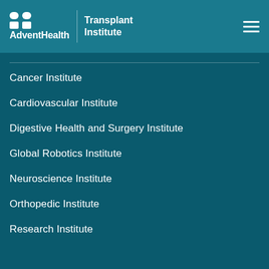AdventHealth | Transplant Institute
Cancer Institute
Cardiovascular Institute
Digestive Health and Surgery Institute
Global Robotics Institute
Neuroscience Institute
Orthopedic Institute
Research Institute